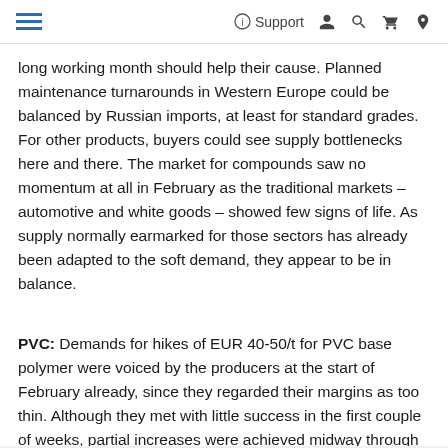Support
long working month should help their cause. Planned maintenance turnarounds in Western Europe could be balanced by Russian imports, at least for standard grades. For other products, buyers could see supply bottlenecks here and there. The market for compounds saw no momentum at all in February as the traditional markets – automotive and white goods – showed few signs of life. As supply normally earmarked for those sectors has already been adapted to the soft demand, they appear to be in balance.
PVC: Demands for hikes of EUR 40-50/t for PVC base polymer were voiced by the producers at the start of February already, since they regarded their margins as too thin. Although they met with little success in the first couple of weeks, partial increases were achieved midway through the month. Various minor incidents, including maintenance and shutdowns, boosted producers' demands for hikes. These curtailed